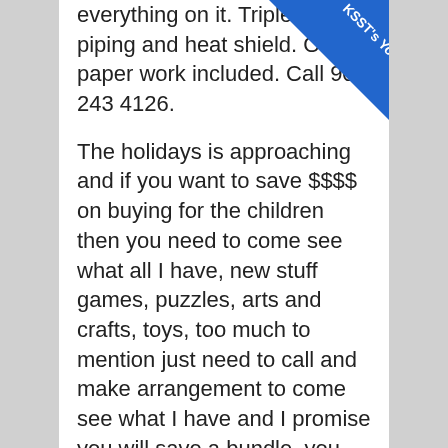everything on it. Triple w piping and heat shield. Orig paper work included. Call 903 243 4126.
[Figure (other): Blue diagonal ribbon banner in top-right corner with text KSST's YouTube Channel]
The holidays is approaching and if you want to save $$$$ on buying for the children then you need to come see what all I have, new stuff games, puzzles, arts and crafts, toys, too much to mention just need to call and make arrangement to come see what I have and I promise you will save a bundle, you can pick what you want box it up and if I need to hold it for you I can and if you need to make a layaway